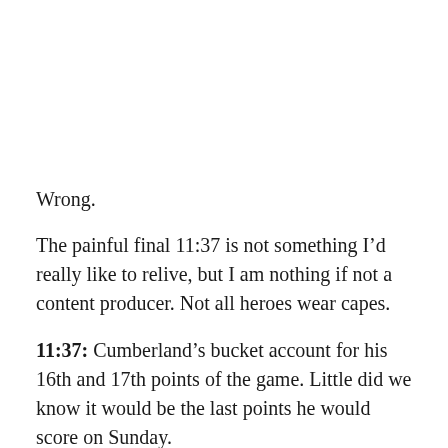Wrong.
The painful final 11:37 is not something I’d really like to relive, but I am nothing if not a content producer. Not all heroes wear capes.
11:37: Cumberland’s bucket account for his 16th and 17th points of the game. Little did we know it would be the last points he would score on Sunday.
9:06: Suddenly the Nevada offense has gotten a